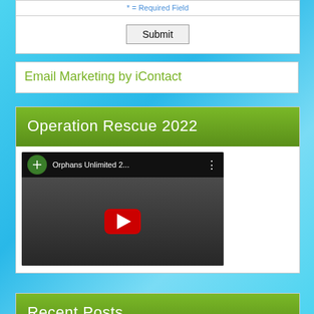* = Required Field
Submit
Email Marketing by iContact
Operation Rescue 2022
[Figure (screenshot): YouTube video thumbnail showing 'Orphans Unlimited 2...' with a child in the thumbnail and a red play button]
Recent Posts